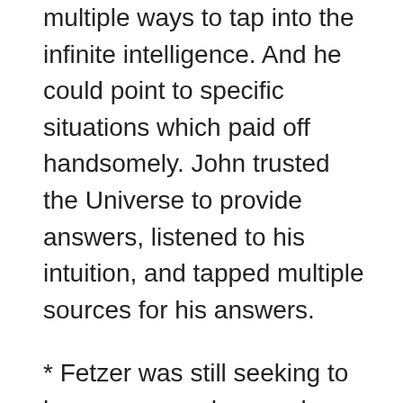multiple ways to tap into the infinite intelligence. And he could point to specific situations which paid off handsomely. John trusted the Universe to provide answers, listened to his intuition, and tapped multiple sources for his answers.
* Fetzer was still seeking to learn, grow and unravel more of the Universe's mysteries, even as he approached his 9th decade. He never stopped trying to raise his consciousness. And in order to bring others along to a more advanced state of consciousness, so that they, too,